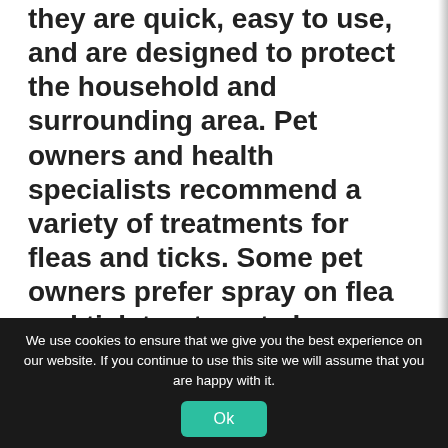they are quick, easy to use, and are designed to protect the household and surrounding area. Pet owners and health specialists recommend a variety of treatments for fleas and ticks. Some pet owners prefer spray on flea and tick treatments because they go on immediately and can be used more freely than flea pills for dogs and spot on treatments. In addition, many spray on treatments are designed to be used in your home on upholstery, drapes, and bedding and to
We use cookies to ensure that we give you the best experience on our website. If you continue to use this site we will assume that you are happy with it.